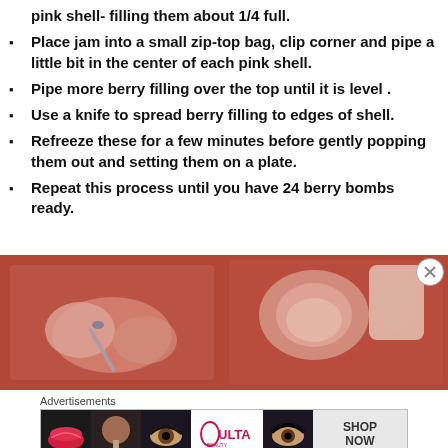pink shell- filling them about 1/4 full.
Place jam into a small zip-top bag, clip corner and pipe a little bit in the center of each pink shell.
Pipe more berry filling over the top until it is level .
Use a knife to spread berry filling to edges of shell.
Refreeze these for a few minutes before gently popping them out and setting them on a plate.
Repeat this process until you have 24 berry bombs ready.
[Figure (photo): Red silicone mold with pink frozen mixture being spread with a brush]
[Figure (photo): Pink frozen shell being popped out of red silicone mold]
Advertisements
[Figure (other): Ulta Beauty advertisement banner with makeup images and SHOP NOW button]